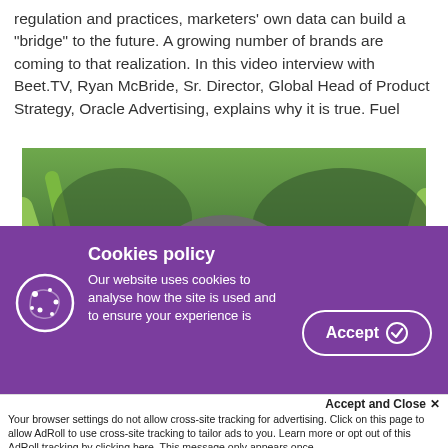regulation and practices, marketers' own data can build a "bridge" to the future. A growing number of brands are coming to that realization. In this video interview with Beet.TV, Ryan McBride, Sr. Director, Global Head of Product Strategy, Oracle Advertising, explains why it is true. Fuel
[Figure (photo): Photo of a man with grey hair in a white shirt, outdoors with large tropical plants in the background]
Cookies policy
Our website uses cookies to analyse how the site is used and to ensure your experience is
Accept and Close ✕
Your browser settings do not allow cross-site tracking for advertising. Click on this page to allow AdRoll to use cross-site tracking to tailor ads to you. Learn more or opt out of this AdRoll tracking by clicking here. This message only appears once.